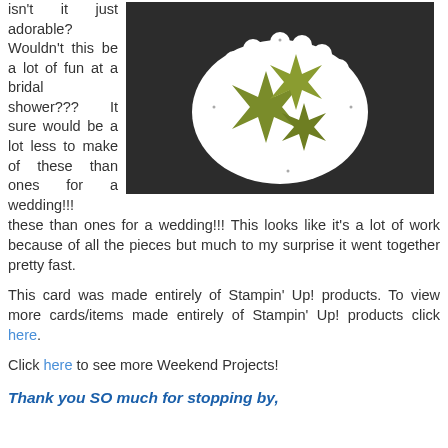isn't it just adorable? Wouldn't this be a lot of fun at a bridal shower??? It sure would be a lot less to make of these than ones for a wedding!!! This looks like it's a lot of work because of all the pieces but much to my surprise it went together pretty fast.
[Figure (photo): A white scalloped-edge doily or paper flower shape on a dark background, decorated with three olive/yellow-green star-shaped paper flowers arranged in a cluster.]
This card was made entirely of Stampin' Up! products. To view more cards/items made entirely of Stampin' Up! products click here.
Click here to see more Weekend Projects!
Thank you SO much for stopping by,